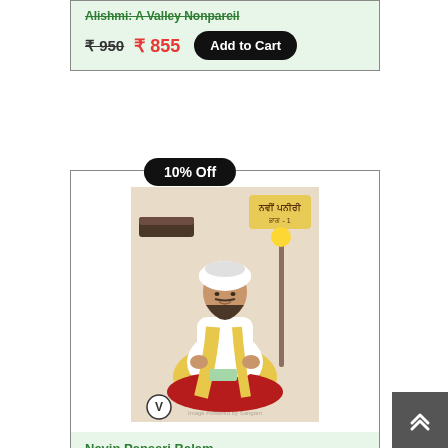Alishmi: A Valley Nonpareil (strikethrough title)
₹ 950  ₹ 855  Add to Cart
10% Off
[Figure (illustration): Book cover showing Guru Angad Dev Ji seated in white robes with yellow sash and turban, holding a religious scroll, with Punjabi text 'ਨਵੀਂ ਪਨੀਰੀ' (Navin Paneeri) in top right corner and Virsa Publications logo at bottom]
Navin Paneeri Balam Sakhian Guru Angad Dev Ji #(pt1) ₹ __  Add to Cart